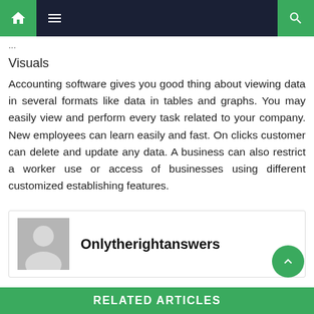Navigation bar with home, menu, and search icons
Visuals
Accounting software gives you good thing about viewing data in several formats like data in tables and graphs. You may easily view and perform every task related to your company. New employees can learn easily and fast. On clicks customer can delete and update any data. A business can also restrict a worker use or access of businesses using different customized establishing features.
Onlytherightanswers
RELATED ARTICLES